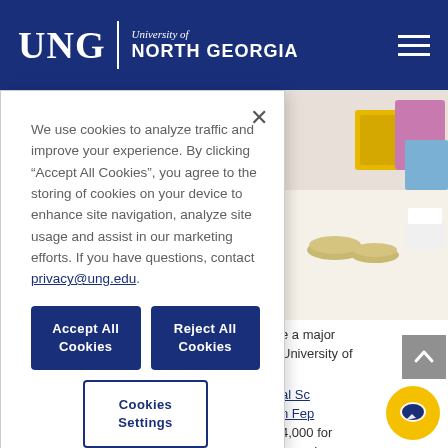UNG | University of North Georgia
[Figure (screenshot): University of North Georgia website screenshot showing a laboratory image with colored storage bins and petri dishes in the background, partially obscured by a cookie consent modal dialog.]
We use cookies to analyze traffic and improve your experience. By clicking “Accept All Cookies”, you agree to the storing of cookies on your device to enhance site navigation, analyze site usage and assist in our marketing efforts. If you have questions, contact privacy@ung.edu.
Accept All Cookies
Reject All Cookies
Cookies Settings